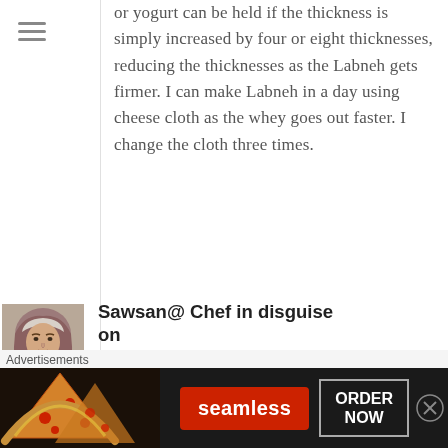or yogurt can be held if the thickness is simply increased by four or eight thicknesses, reducing the thicknesses as the Labneh gets firmer. I can make Labneh in a day using cheese cloth as the whey goes out faster. I change the cloth three times.
Sawsan@ Chef in disguise on March 19, 2013 at 8:41 AM
Reply
Hello Keith.
I will update the post with your advice but I find it easier to select a fabric that has a fine weave as
[Figure (photo): Profile photo of Sawsan, a woman wearing a hijab]
[Figure (infographic): Seamless advertisement banner showing pizza and order now button]